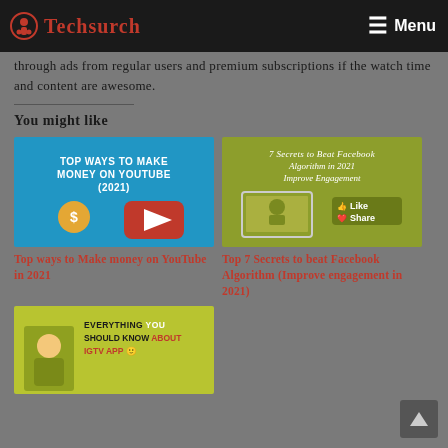Techsurch — Menu
through ads from regular users and premium subscriptions if the watch time and content are awesome.
You might like
[Figure (screenshot): Thumbnail image: TOP WAYS TO MAKE MONEY ON YOUTUBE (2021) with YouTube play button icon]
Top ways to Make money on YouTube in 2021
[Figure (screenshot): Thumbnail image: 7 Secrets to Beat Facebook Algorithm in 2021 Improve Engagement with Facebook like icons]
Top 7 Secrets to beat Facebook Algorithm (Improve engagement in 2021)
[Figure (screenshot): Thumbnail image: EVERYTHING YOU SHOULD KNOW ABOUT IGTV APP with illustration]